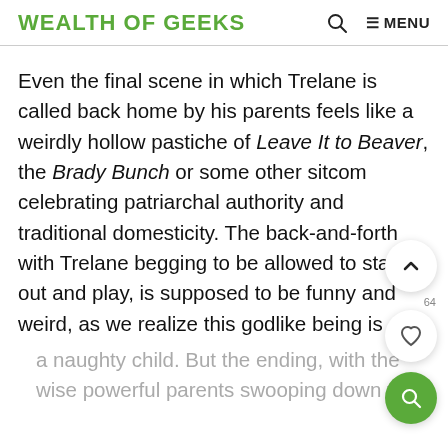WEALTH OF GEEKS   🔍   ≡ MENU
Even the final scene in which Trelane is called back home by his parents feels like a weirdly hollow pastiche of Leave It to Beaver, the Brady Bunch or some other sitcom celebrating patriarchal authority and traditional domesticity. The back-and-forth with Trelane begging to be allowed to stay out and play, is supposed to be funny and weird, as we realize this godlike being is only a naughty child. But the ending, with the wise powerful parents swooping down to